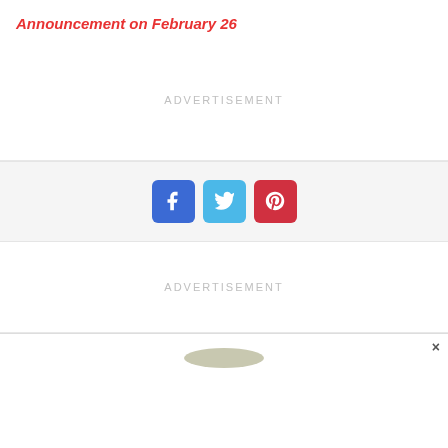Announcement on February 26
ADVERTISEMENT
[Figure (infographic): Social sharing buttons: Facebook (blue), Twitter (light blue), Pinterest (red)]
ADVERTISEMENT
[Figure (photo): Partial image visible at bottom of page with a close (×) button in the lower right]